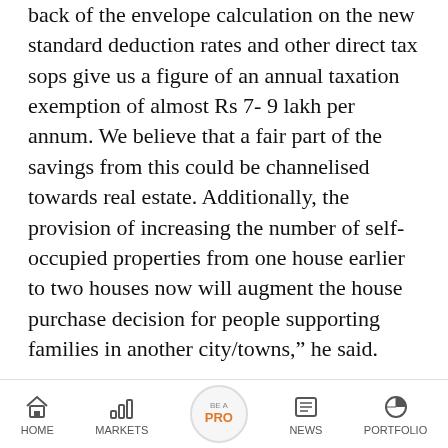back of the envelope calculation on the new standard deduction rates and other direct tax sops give us a figure of an annual taxation exemption of almost Rs 7- 9 lakh per annum. We believe that a fair part of the savings from this could be channelised towards real estate. Additionally, the provision of increasing the number of self-occupied properties from one house earlier to two houses now will augment the house purchase decision for people supporting families in another city/towns," he said.
[Figure (screenshot): Recommended article card: Deconstructing Budget 2019: What's in it for [truncated] on dark blue background]
[Figure (screenshot): Recommended article card: Fuel prices on August 21: Check petrol, diesel [truncated] on white background]
[Figure (screenshot): Mobile bottom navigation bar with HOME, MARKETS, BE A PRO, NEWS, PORTFOLIO icons]